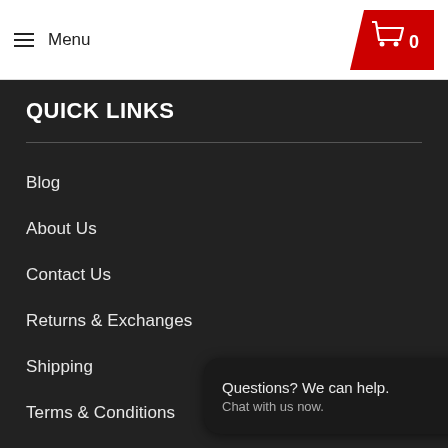Menu | Cart 0
QUICK LINKS
Blog
About Us
Contact Us
Returns & Exchanges
Shipping
Terms & Conditions
Privacy Policy
Sitemap
Questions? We can help. Chat with us now.